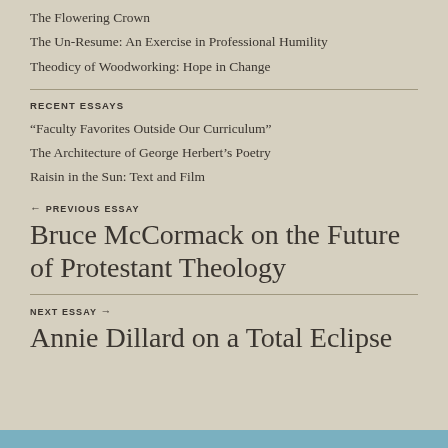The Flowering Crown
The Un-Resume: An Exercise in Professional Humility
Theodicy of Woodworking: Hope in Change
RECENT ESSAYS
“Faculty Favorites Outside Our Curriculum”
The Architecture of George Herbert’s Poetry
Raisin in the Sun: Text and Film
← PREVIOUS ESSAY
Bruce McCormack on the Future of Protestant Theology
NEXT ESSAY →
Annie Dillard on a Total Eclipse